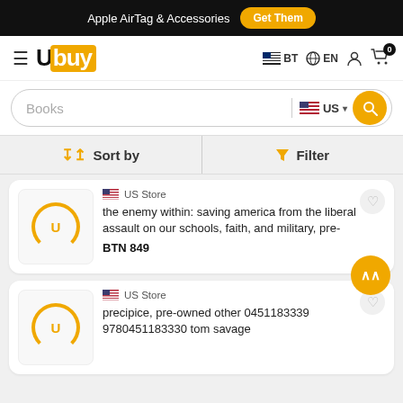Apple AirTag & Accessories  Get Them
[Figure (logo): Ubuy logo with hamburger menu, country selector BT, language EN, user icon, and cart with 0 items]
Books  US
Sort by   Filter
US Store
the enemy within: saving america from the liberal assault on our schools, faith, and military, pre-
BTN 849
US Store
precipice, pre-owned other 0451183339 9780451183330 tom savage